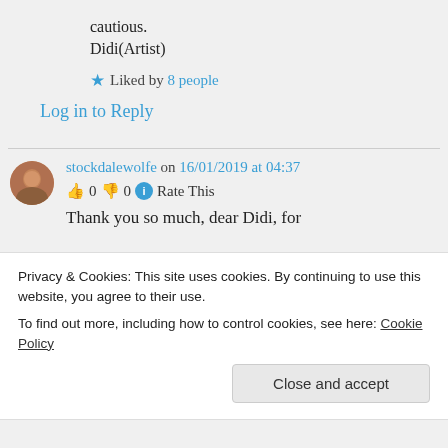cautious.
Didi(Artist)
★ Liked by 8 people
Log in to Reply
stockdalewolfe on 16/01/2019 at 04:37
👍 0 👎 0 ℹ Rate This
Thank you so much, dear Didi, for
Privacy & Cookies: This site uses cookies. By continuing to use this website, you agree to their use.
To find out more, including how to control cookies, see here: Cookie Policy
Close and accept